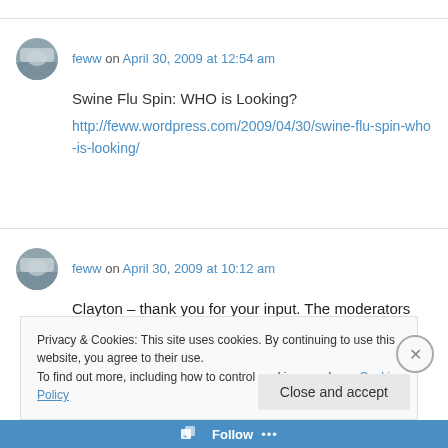feww on April 30, 2009 at 12:54 am
Swine Flu Spin: WHO is Looking?
http://feww.wordpress.com/2009/04/30/swine-flu-spin-who-is-looking/
feww on April 30, 2009 at 10:12 am
Clayton – thank you for your input. The moderators don't believe the two issues are
Privacy & Cookies: This site uses cookies. By continuing to use this website, you agree to their use.
To find out more, including how to control cookies, see here: Cookie Policy
Close and accept
Follow